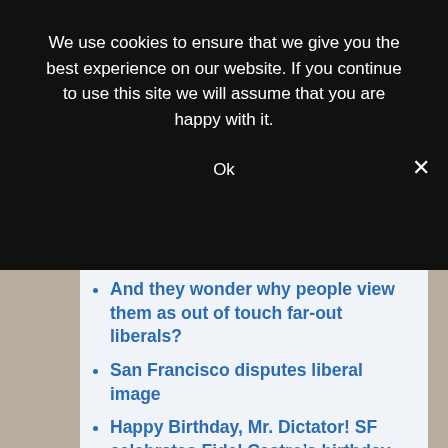We use cookies to ensure that we give you the best experience on our website. If you continue to use this site we will assume that you are happy with it.
Ok
And they wonder why people view them as out of touch far-out liberals?
San Francisco disputes liberal image
Happy Birthday, Mr. Dictator! SF celebrates Fidel Castro's birthday
SF Mayor once again vows to ignore the law
Cindy Sheehan to speak at a